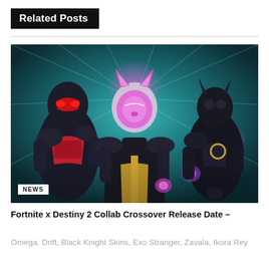Related Posts
[Figure (screenshot): Three Fortnite x Destiny 2 crossover character skins standing together: left character in dark armor with red chest plate and glowing red eyes, center character (Drift skin) in cat mask with pink/magenta glowing face, dark coat with gold trim; right character in dark armor with skull-like mask holding a glowing purple orb. Background is teal/dark with radial light beams. NEWS badge in bottom-left corner.]
Fortnite x Destiny 2 Collab Crossover Release Date –
Omega, Drift, Black Knight Skins, Exo Stranger, Zavala, Ikora Rey